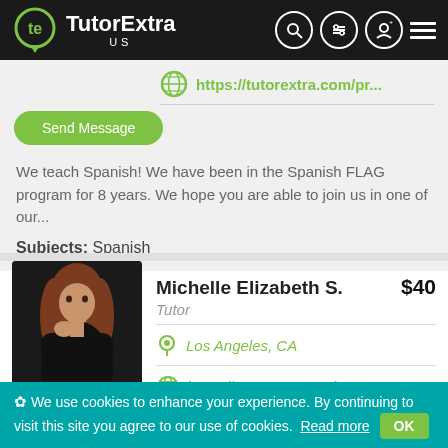[Figure (logo): TutorExtra US logo with green icon on black header bar]
[Figure (screenshot): Globe icon with link https://tutorextra.com/pr...]
Send Message
We teach Spanish! We have been in the Spanish FLAG program for 8 years. We hope you are able to join us in one of our...
Subjects: Spanish
Michelle Elizabeth S.   $40
Tutor
Los Angeles, CA
https://tutorextra.com/pr...
Send Message
We use cookies to enhance your experience. By continuing to visit this site you agree to our use of cookies.  Read more  OK